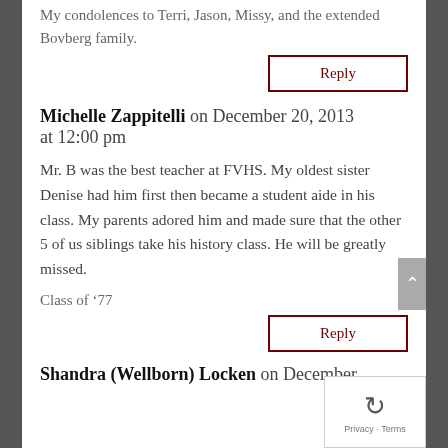My condolences to Terri, Jason, Missy, and the extended Bovberg family.
Reply
Michelle Zappitelli on December 20, 2013 at 12:00 pm
Mr. B was the best teacher at FVHS. My oldest sister Denise had him first then became a student aide in his class. My parents adored him and made sure that the other 5 of us siblings take his history class. He will be greatly missed.
Class of ’77
Reply
Shandra (Wellborn) Locken on December